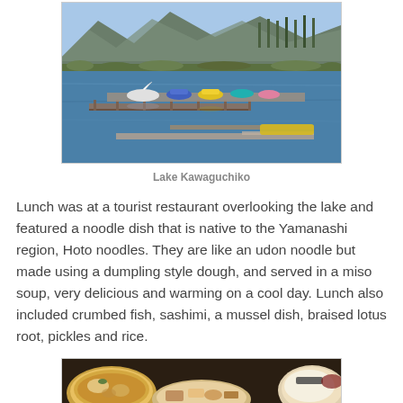[Figure (photo): A lake scene with paddle boats, a wooden dock/pier, mountains in the background, and clear blue sky. Colorful pedal boats are near a floating dock on Lake Kawaguchiko.]
Lake Kawaguchiko
Lunch was at a tourist restaurant overlooking the lake and featured a noodle dish that is native to the Yamanashi region, Hoto noodles. They are like an udon noodle but made using a dumpling style dough, and served in a miso soup, very delicious and warming on a cool day. Lunch also included crumbed fish, sashimi, a mussel dish, braised lotus root, pickles and rice.
[Figure (photo): A photograph of Japanese food dishes on a dark surface, partially visible at the bottom of the page, showing what appears to be bowls and plates of the described Hoto noodle lunch.]